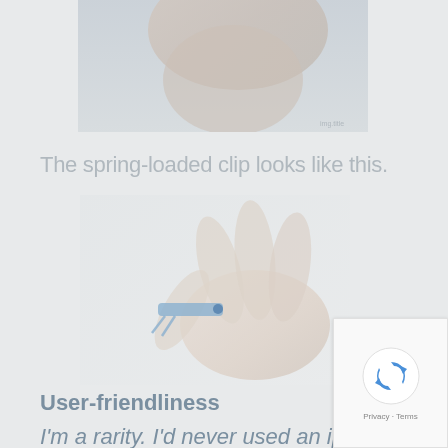[Figure (photo): Faded photo of a person's neck/shoulder area, partially visible, with a small label in the bottom right corner reading 'img.title']
The spring-loaded clip looks like this.
[Figure (photo): Faded photo of a hand holding a small spring-loaded clip device]
User-friendliness
I'm a rarity. I'd never used an ipod